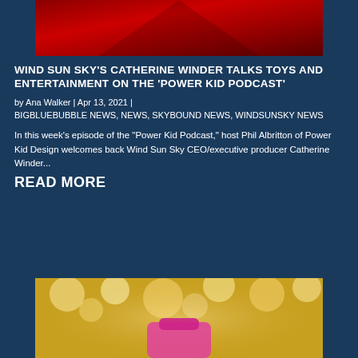[Figure (photo): Partial red gradient image at the top, cropped]
WIND SUN SKY'S CATHERINE WINDER TALKS TOYS AND ENTERTAINMENT ON THE 'POWER KID PODCAST'
by Ana Walker | Apr 13, 2021 | BIGBLUEBUBBLE NEWS, NEWS, SKYBOUND NEWS, WINDSUNSKY NEWS
In this week's episode of the "Power Kid Podcast," host Phil Albritton of Power Kid Design welcomes back Wind Sun Sky CEO/executive producer Catherine Winder...
READ MORE
[Figure (photo): Bottom partial image showing bokeh lights background with pink toy figure]